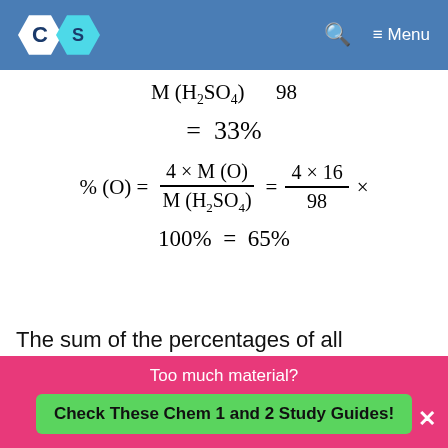CS [logo] | Search | Menu
The sum of the percentages of all elements in the compound is 100%, so you can find the
Too much material? Check These Chem 1 and 2 Study Guides!